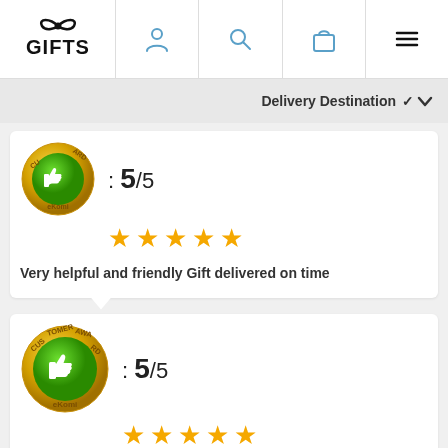GIFTS — navigation bar with logo, user, search, bag, menu icons
Delivery Destination
[Figure (logo): eKomi Customer Award badge with thumbs up, rating: 5/5 with 5 gold stars]
: 5/5
Very helpful and friendly Gift delivered on time
[Figure (logo): eKomi Customer Award badge with thumbs up, rating: 5/5 with 5 gold stars]
: 5/5